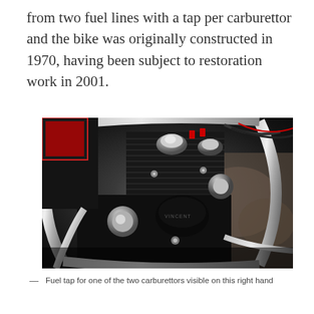from two fuel lines with a tap per carburettor and the bike was originally constructed in 1970, having been subject to restoration work in 2001.
[Figure (photo): Close-up photograph of a vintage motorcycle engine, showing chrome exhaust pipes, black engine casing with cooling fins, carburettors, cables, and mechanical components. The engine appears to be from a classic British motorcycle, circa 1970.]
— Fuel tap for one of the two carburettors visible on this right hand